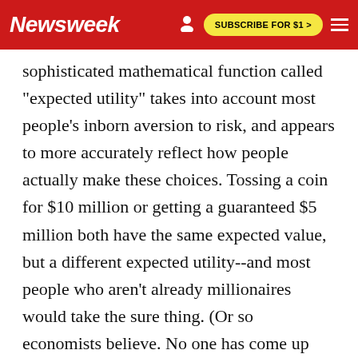Newsweek | SUBSCRIBE FOR $1 >
sophisticated mathematical function called "expected utility" takes into account most people's inborn aversion to risk, and appears to more accurately reflect how people actually make these choices. Tossing a coin for $10 million or getting a guaranteed $5 million both have the same expected value, but a different expected utility--and most people who aren't already millionaires would take the sure thing. (Or so economists believe. No one has come up with the funding to test the hypothesis.) In his monkey research Glimcher has isolated